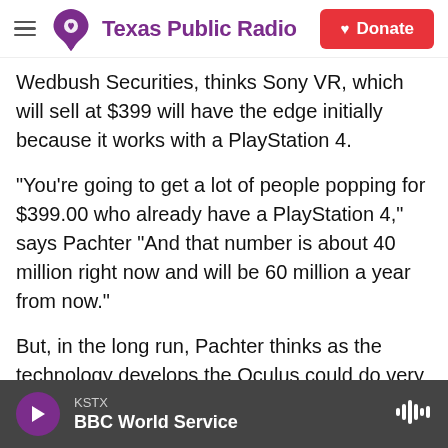Texas Public Radio | Donate
Wedbush Securities, thinks Sony VR, which will sell at $399 will have the edge initially because it works with a PlayStation 4.
"You're going to get a lot of people popping for $399.00 who already have a PlayStation 4," says Pachter "And that number is about 40 million right now and will be 60 million a year from now."
But, in the long run, Pachter thinks as the technology develops the Oculus could do very well. Facebook spent $2 billion buying the company and he believes it will support Oculus for as long as it takes to perfect the technology and bring down the
KSTX
BBC World Service